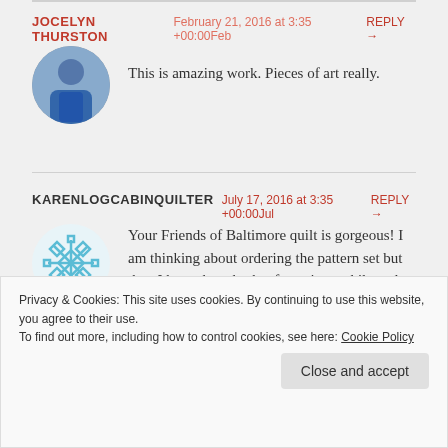JOCELYN THURSTON  February 21, 2016 at 3:35 +00:00Feb  REPLY →
[Figure (photo): Circular avatar photo of Jocelyn Thurston, a person in a blue shirt]
This is amazing work. Pieces of art really.
KARENLOGCABINQUILTER  July 17, 2016 at 3:35 +00:00Jul  REPLY →
[Figure (illustration): Circular avatar with a blue geometric/snowflake pattern icon for KarenLogCabinQuilter]
Your Friends of Baltimore quilt is gorgeous! I am thinking about ordering the pattern set but then I have thought that for quite a while and not done it yet.
Privacy & Cookies: This site uses cookies. By continuing to use this website, you agree to their use. To find out more, including how to control cookies, see here: Cookie Policy
Close and accept